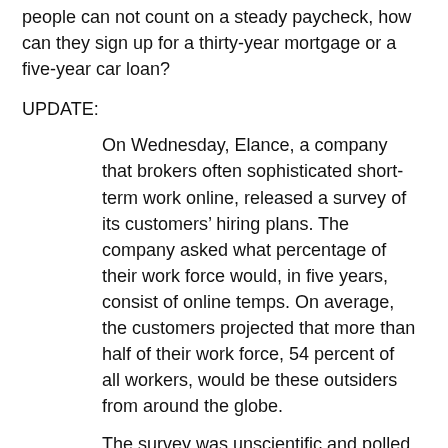people can not count on a steady paycheck, how can they sign up for a thirty-year mortgage or a five-year car loan?
UPDATE:
On Wednesday, Elance, a company that brokers often sophisticated short-term work online, released a survey of its customers’ hiring plans. The company asked what percentage of their work force would, in five years, consist of online temps. On average, the customers projected that more than half of their work force, 54 percent of all workers, would be these outsiders from around the globe.
The survey was unscientific and polled mostly small companies. Only 2.3 percent of the 1,500 companies surveyed had more than 100 employees. It is, however, another indicator that cloud-computing-based employment brokers like Elance, ODesk and Freelancer.com are gaining acceptance.